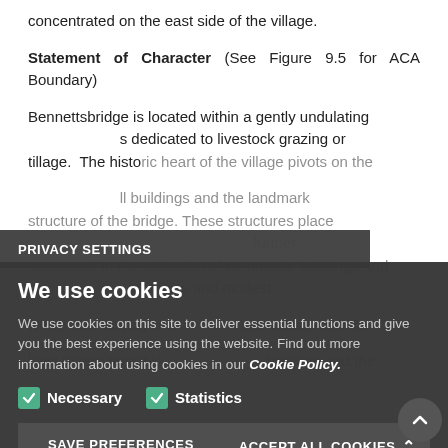concentrated on the east side of the village.
Statement of Character (See Figure 9.5 for ACA Boundary)
Bennettsbridge is located within a gently undulating … dedicated to livestock grazing or tillage. The historic heart of the village pivots on the … small buildings and the landmark structure of the bridge. These structures place… further expressed in the collection of vernacular buildings and … simple straight roof lines and modest … which also display oral … this section and the …
PRIVACY SETTINGS
We use cookies
We use cookies on this site to deliver essential functions and give you the best experience using the website. Find out more information about using cookies in our Cookie Policy.
Necessary   Statistics
SAVE PREFERENCES   ACCEPT ALL COOKIES